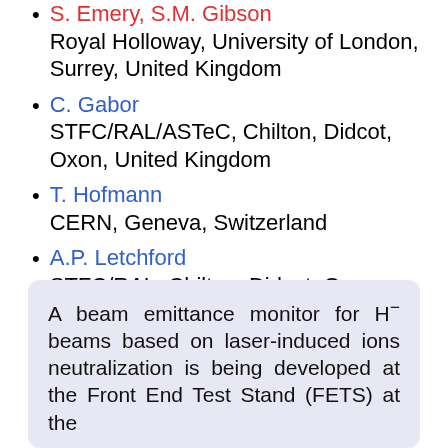S. Emery, S.M. Gibson — Royal Holloway, University of London, Surrey, United Kingdom
C. Gabor — STFC/RAL/ASTeC, Chilton, Didcot, Oxon, United Kingdom
T. Hofmann — CERN, Geneva, Switzerland
A.P. Letchford — STFC/RAL, Chilton, Didcot, Oxon, United Kingdom
J.K. Pozimski, P. Savage — Imperial College of Science and Technology, Department of Physics, London, United Kingdom
A beam emittance monitor for H⁻ beams based on laser-induced ions neutralization is being developed at the Front End Test Stand (FETS) at the